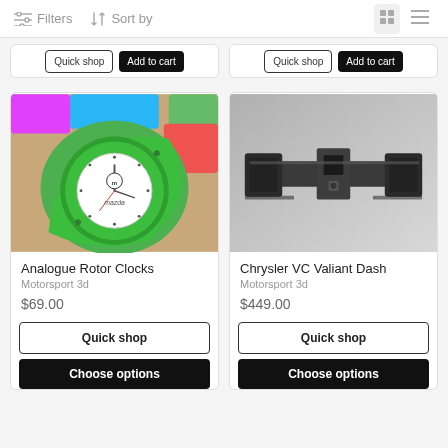Filters  Sort by
[Figure (screenshot): Partial product cards from previous row showing Quick shop and Add to cart buttons]
[Figure (photo): Green triangular Mazda rotor-shaped analogue clock with clock face showing Mazda branding]
Analogue Rotor Clocks
Motorsport 3d
$69.00
[Figure (photo): 3D rendered dark grey Chrysler VC Valiant Dash mount bracket component on grey background]
Chrysler VC Valiant Dash
Motorsport 3d
$449.00